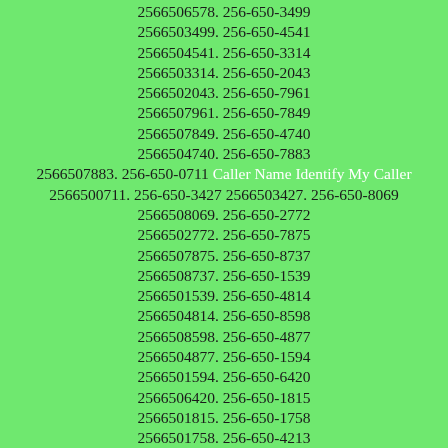2566506578. 256-650-3499 2566503499. 256-650-4541 2566504541. 256-650-3314 2566503314. 256-650-2043 2566502043. 256-650-7961 2566507961. 256-650-7849 2566507849. 256-650-4740 2566504740. 256-650-7883 2566507883. 256-650-0711 Caller Name Identify My Caller 2566500711. 256-650-3427 2566503427. 256-650-8069 2566508069. 256-650-2772 2566502772. 256-650-7875 2566507875. 256-650-8737 2566508737. 256-650-1539 2566501539. 256-650-4814 2566504814. 256-650-8598 2566508598. 256-650-4877 2566504877. 256-650-1594 2566501594. 256-650-6420 2566506420. 256-650-1815 2566501815. 256-650-1758 2566501758. 256-650-4213 2566504213. 256-650-4747 2566504747. 256-650-1078